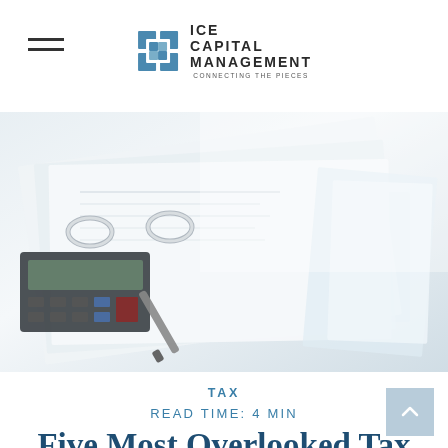ICE CAPITAL MANAGEMENT — CONNECTING THE PIECES
[Figure (photo): Close-up photo of financial documents in a binder with a calculator and pen on a desk, with teal/blue folder and papers in background]
TAX
READ TIME: 4 MIN
Five Most Overlooked Tax